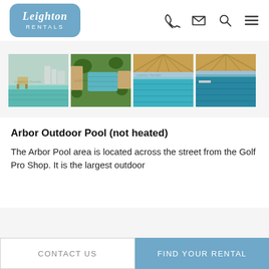Leighton Rentals
[Figure (photo): Four photos in a horizontal strip showing outdoor pool area with chairs, aerial view of pool complex, indoor Olympic pool interior, and another indoor pool interior.]
Arbor Outdoor Pool (not heated)
The Arbor Pool area is located across the street from the Golf Pro Shop. It is the largest outdoor
CONTACT US   FIND YOUR RENTAL